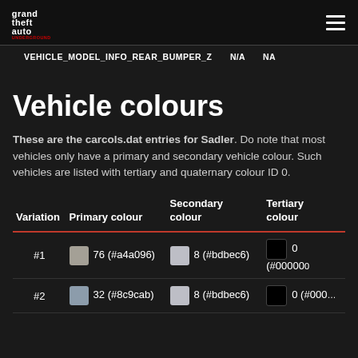Grand Theft Auto Underground
VEHICLE_MODEL_INFO_REAR_BUMPER_Z   N/A   NA
Vehicle colours
These are the carcols.dat entries for Sadler. Do note that most vehicles only have a primary and secondary vehicle colour. Such vehicles are listed with tertiary and quaternary colour ID 0.
| Variation | Primary colour | Secondary colour | Tertiary colour |
| --- | --- | --- | --- |
| #1 | 76 (#a4a096) | 8 (#bdbec6) | 0 (#000000) |
| #2 | 32 (#8c9cab) | 8 (#bdbec6) | 0 (#000000) |